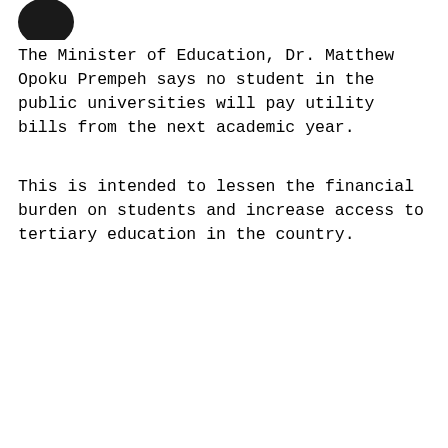[Figure (logo): Partial dark circular logo in top-left corner]
The Minister of Education, Dr. Matthew Opoku Prempeh says no student in the public universities will pay utility bills from the next academic year.
This is intended to lessen the financial burden on students and increase access to tertiary education in the country.